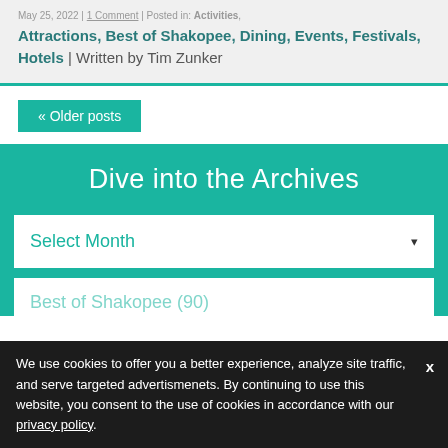May 25, 2022 | 1 Comment | Posted in: Activities, Attractions, Best of Shakopee, Dining, Events, Festivals, Hotels | Written by Tim Zunker
« Older posts
Dive into the Archives
Select Month
Best of Shakopee (90)
We use cookies to offer you a better experience, analyze site traffic, and serve targeted advertismenets. By continuing to use this website, you consent to the use of cookies in accordance with our privacy policy.